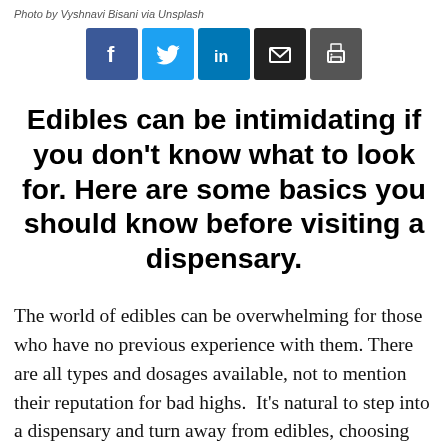Photo by Vyshnavi Bisani via Unsplash
[Figure (other): Social sharing buttons: Facebook (blue), Twitter (light blue), LinkedIn (blue), Email (black), Print (dark grey)]
Edibles can be intimidating if you don't know what to look for. Here are some basics you should know before visiting a dispensary.
The world of edibles can be overwhelming for those who have no previous experience with them. There are all types and dosages available, not to mention their reputation for bad highs.  It's natural to step into a dispensary and turn away from edibles, choosing something more approachable, something